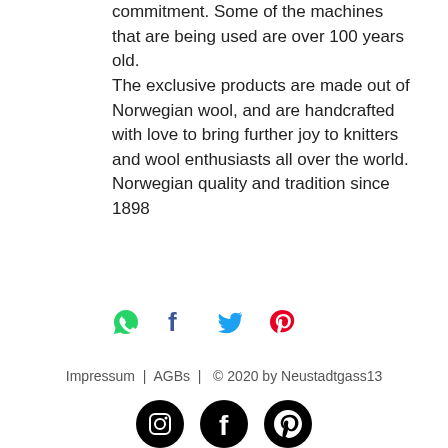commitment. Some of the machines that are being used are over 100 years old. The exclusive products are made out of Norwegian wool, and are handcrafted with love to bring further joy to knitters and wool enthusiasts all over the world. Norwegian quality and tradition since 1898
[Figure (infographic): Social share icons row: WhatsApp (green), Facebook (dark), Twitter (blue), Pinterest (red/pink)]
Impressum  |  AGBs  |  © 2020 by Neustadtgass13
[Figure (infographic): Three black circular social media icons: Instagram, Facebook, Pinterest]